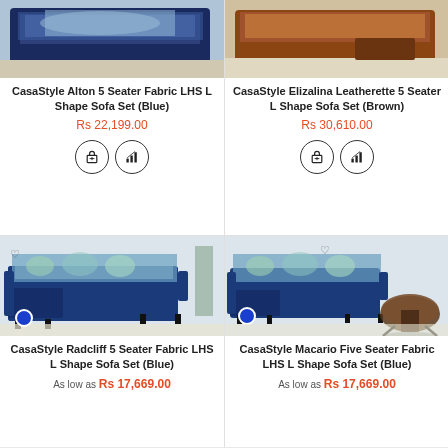[Figure (photo): CasaStyle Alton 5 Seater Fabric LHS L Shape Sofa Set (Blue) product image]
CasaStyle Alton 5 Seater Fabric LHS L Shape Sofa Set (Blue)
Rs 22,199.00
[Figure (photo): CasaStyle Elizalina Leatherette 5 Seater L Shape Sofa Set (Brown) product image]
CasaStyle Elizalina Leatherette 5 Seater L Shape Sofa Set (Brown)
Rs 30,610.00
[Figure (photo): CasaStyle Radcliff 5 Seater Fabric LHS L Shape Sofa Set (Blue) product image]
CasaStyle Radcliff 5 Seater Fabric LHS L Shape Sofa Set (Blue)
As low as Rs 17,669.00
[Figure (photo): CasaStyle Macario Five Seater Fabric LHS L Shape Sofa Set (Blue) product image]
CasaStyle Macario Five Seater Fabric LHS L Shape Sofa Set (Blue)
As low as Rs 17,669.00